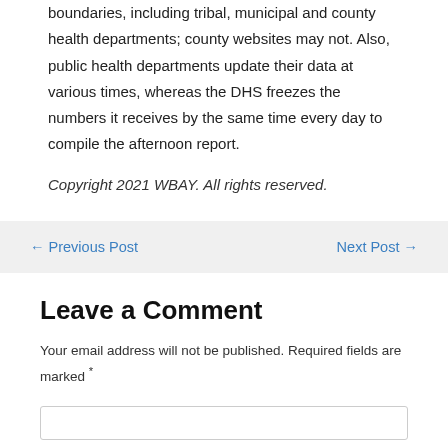boundaries, including tribal, municipal and county health departments; county websites may not. Also, public health departments update their data at various times, whereas the DHS freezes the numbers it receives by the same time every day to compile the afternoon report.
Copyright 2021 WBAY. All rights reserved.
← Previous Post
Next Post →
Leave a Comment
Your email address will not be published. Required fields are marked *